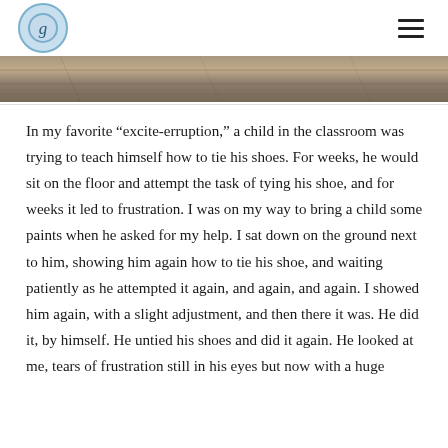g [logo]
[Figure (photo): Partial view of a wooden table or floor surface — a narrow horizontal photo strip showing wood grain texture]
In my favorite “excite-erruption,” a child in the classroom was trying to teach himself how to tie his shoes. For weeks, he would sit on the floor and attempt the task of tying his shoe, and for weeks it led to frustration. I was on my way to bring a child some paints when he asked for my help. I sat down on the ground next to him, showing him again how to tie his shoe, and waiting patiently as he attempted it again, and again, and again. I showed him again, with a slight adjustment, and then there it was. He did it, by himself. He untied his shoes and did it again. He looked at me, tears of frustration still in his eyes but now with a huge